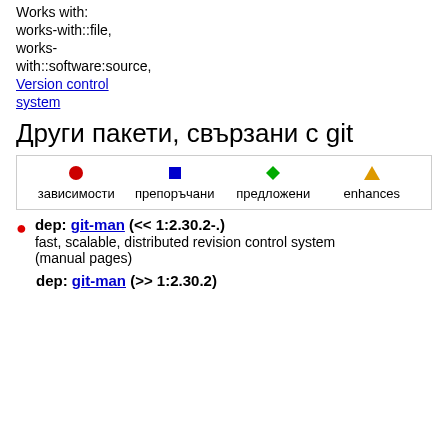Works with:
works-with::file,
works-with::software:source,
Version control system
Други пакети, свързани с git
[Figure (infographic): Legend box with colored icons: red circle = зависимости, blue square = препоръчани, green diamond = предложени, orange triangle = enhances]
dep: git-man (<< 1:2.30.2-.) — fast, scalable, distributed revision control system (manual pages)
dep: git-man (>> 1:2.30.2)